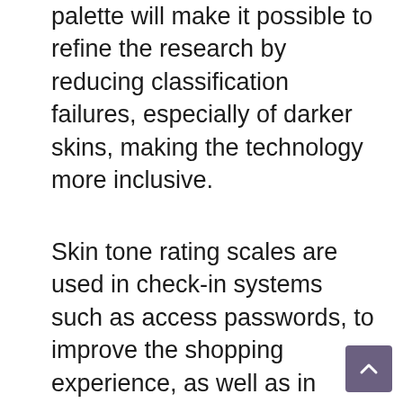palette will make it possible to refine the research by reducing classification failures, especially of darker skins, making the technology more inclusive.
Skin tone rating scales are used in check-in systems such as access passwords, to improve the shopping experience, as well as in more complex applications such as heart rate sensors in smartwatches, artificial intelligence systems including facial recognition applications developed for skin cancer detection, vision systems used in self-driving cars, and even image filters.
The use of a reduced scale reflects in the reduction of information available in the...